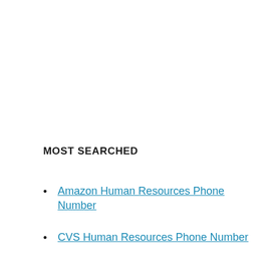MOST SEARCHED
Amazon Human Resources Phone Number
CVS Human Resources Phone Number